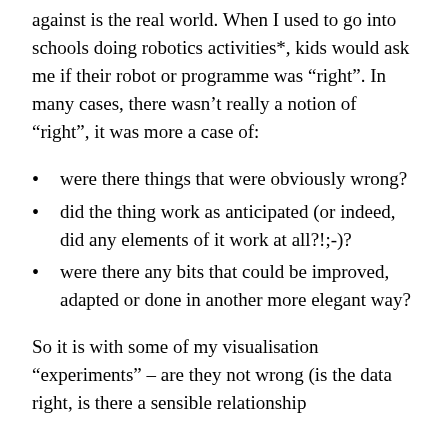against is the real world. When I used to go into schools doing robotics activities*, kids would ask me if their robot or programme was “right”. In many cases, there wasn’t really a notion of “right”, it was more a case of:
were there things that were obviously wrong?
did the thing work as anticipated (or indeed, did any elements of it work at all?!;-)?
were there any bits that could be improved, adapted or done in another more elegant way?
So it is with some of my visualisation “experiments” – are they not wrong (is the data right, is there a sensible relationship